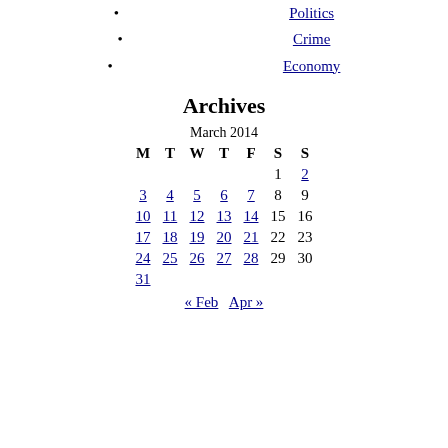Politics
Crime
Economy
Archives
| M | T | W | T | F | S | S |
| --- | --- | --- | --- | --- | --- | --- |
|  |  |  |  |  | 1 | 2 |
| 3 | 4 | 5 | 6 | 7 | 8 | 9 |
| 10 | 11 | 12 | 13 | 14 | 15 | 16 |
| 17 | 18 | 19 | 20 | 21 | 22 | 23 |
| 24 | 25 | 26 | 27 | 28 | 29 | 30 |
| 31 |  |  |  |  |  |  |
« Feb   Apr »